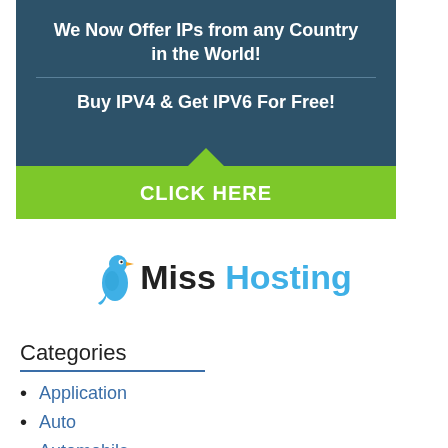[Figure (infographic): Ad banner with dark teal background showing 'We Now Offer IPs from any Country in the World!' and 'Buy IPV4 & Get IPV6 For Free!' with a green 'CLICK HERE' button]
[Figure (logo): Miss Hosting logo with a blue bird icon, 'Miss' in black and 'Hosting' in light blue]
Categories
Application
Auto
Automobile